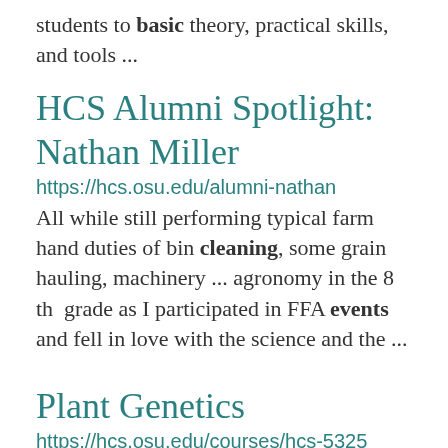students to basic theory, practical skills, and tools ...
HCS Alumni Spotlight: Nathan Miller
https://hcs.osu.edu/alumni-nathan
All while still performing typical farm hand duties of bin cleaning, some grain hauling, machinery ... agronomy in the 8 th  grade as I participated in FFA events and fell in love with the science and the ...
Plant Genetics
https://hcs.osu.edu/courses/hcs-5325